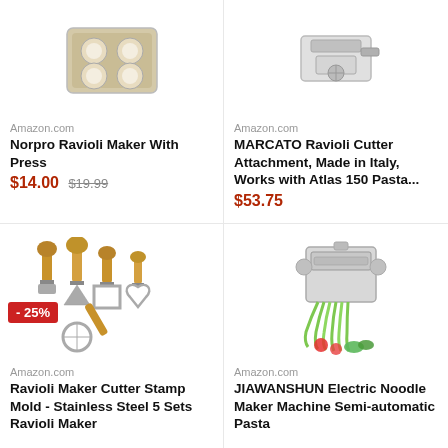[Figure (photo): Ravioli maker mold tray with circular indentations]
Amazon.com
Norpro Ravioli Maker With Press
$14.00 $19.99
[Figure (photo): MARCATO Ravioli Cutter Attachment product photo]
Amazon.com
MARCATO Ravioli Cutter Attachment, Made in Italy, Works with Atlas 150 Pasta...
$53.75
[Figure (photo): Set of ravioli maker cutter stamp molds with wooden handles, stainless steel]
- 25%
Amazon.com
Ravioli Maker Cutter Stamp Mold - Stainless Steel 5 Sets Ravioli Maker
[Figure (photo): JIAWANSHUN Electric Noodle Maker Machine with green pasta and vegetables]
Amazon.com
JIAWANSHUN Electric Noodle Maker Machine Semi-automatic Pasta